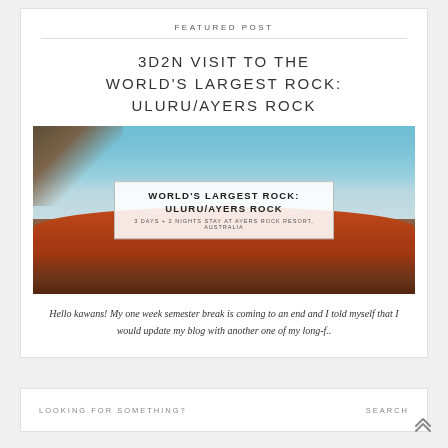FEATURED POST
3D2N VISIT TO THE WORLD'S LARGEST ROCK: ULURU/AYERS ROCK
[Figure (photo): Photo of Uluru/Ayers Rock with red rock formation against a blue sky, vegetation in foreground, overlaid with text box reading 'WORLD'S LARGEST ROCK: ULURU/AYERS ROCK' and subtitle '3 DAYS + 2 NIGHTS STAY AT AYERS ROCK RESORT, AUSTRALIA']
Hello kawans! My one week semester break is coming to an end and I told myself that I would update my blog with another one of my long-f..
LOOKING FOR SOMETHING?
SEARCH